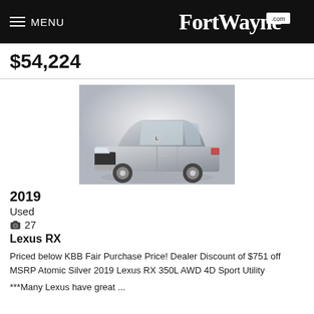MENU FortWayne.com
$54,224
[Figure (photo): Silver 2019 Lexus RX SUV photographed in studio setting against a light grey background]
2019
Used
📷 27
Lexus RX
Priced below KBB Fair Purchase Price! Dealer Discount of $751 off MSRP Atomic Silver 2019 Lexus RX 350L AWD 4D Sport Utility
***Many Lexus have great ...